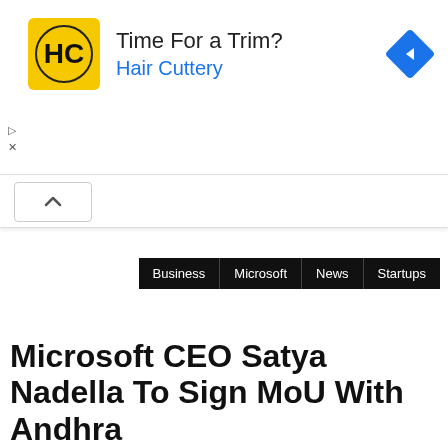[Figure (other): Hair Cuttery advertisement banner with yellow logo, text 'Time For a Trim?' and 'Hair Cuttery', and a blue navigation/map icon on the right]
Business  Microsoft  News  Startups
Microsoft CEO Satya Nadella To Sign MoU With Andhra